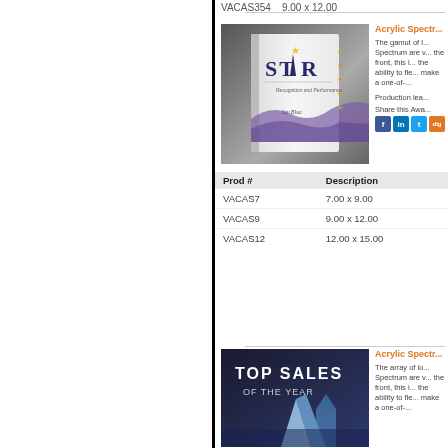VACAS354    9.00 x 12.00
[Figure (photo): Acrylic Spectrum award plaque with STAR text and purple wave design, book-shaped]
Acrylic Spectr...
The gamut of l... Spectrum are v... the front, this i... the ability to fle... make a one-of-...
Production lea...
Share this Awa...
| Prod # | Description |
| --- | --- |
| VACAS7 | 7.00 x 9.00 |
| VACAS9 | 9.00 x 12.00 |
| VACAS12 | 12.00 x 15.00 |
[Figure (photo): Acrylic Spectrum award with TOP SALES OF THE YEAR text and building/crystal design]
Acrylic Spectr...
The array of lo... Spectrum are v... the front, this i... the ability to fle... make a one-of-...